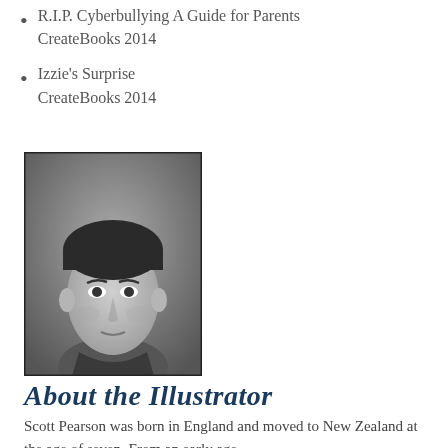R.I.P. Cyberbullying A Guide for Parents
CreateBooks 2014
Izzie's Surprise
CreateBooks 2014
[Figure (photo): Black and white portrait photo of a man (Scott Pearson), clean-cut, dark hair, looking at camera]
About the Illustrator
Scott Pearson was born in England and moved to New Zealand at the age of seven. From an early age